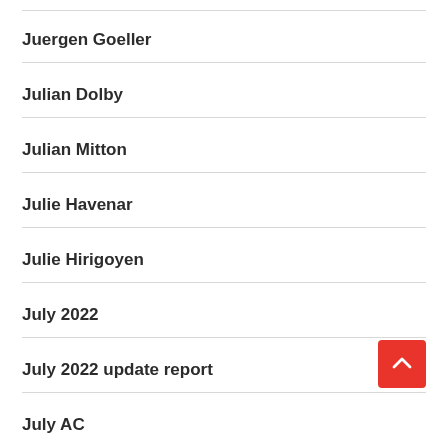Juergen Goeller
Julian Dolby
Julian Mitton
Julie Havenar
Julie Hirigoyen
July 2022
July 2022 update report
July AC